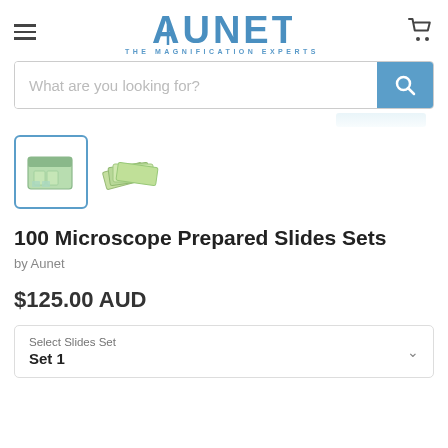[Figure (logo): Aunet logo — THE MAGNIFICATION EXPERTS — blue stylized text with A mark]
[Figure (screenshot): Search bar with placeholder 'What are you looking for?' and blue search button with magnifying glass icon]
[Figure (photo): Two product thumbnails: selected thumbnail showing microscope slides in a green box (blue border), second thumbnail showing green slides fanned out]
100 Microscope Prepared Slides Sets
by Aunet
$125.00 AUD
Select Slides Set
Set 1